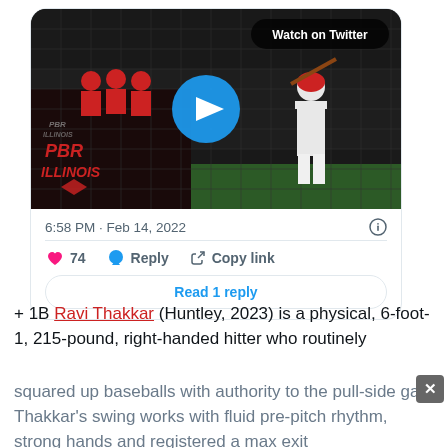[Figure (screenshot): Twitter/X embedded video card showing a baseball batting practice video. A batter in red and white uniform swings in an indoor batting cage with netting. PBR Illinois logo visible bottom-left. 'Watch on Twitter' badge top-right. Blue play button in center.]
6:58 PM · Feb 14, 2022
74  Reply  Copy link
Read 1 reply
+ 1B Ravi Thakkar (Huntley, 2023) is a physical, 6-foot-1, 215-pound, right-handed hitter who routinely squared up baseballs with authority to the pull-side gap. Thakkar's swing works with fluid pre-pitch rhythm, strong hands and registered a max exit